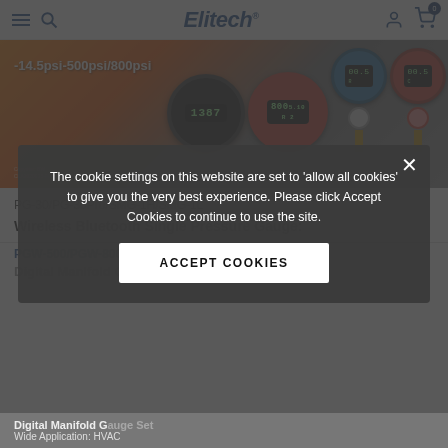Elitech® — navigation bar with hamburger, search, user, and cart icons
[Figure (photo): Elitech product banner showing digital pressure gauges with text '-14.5psi-500psi/800psi' on orange background]
PG-30/PG-30Pro/SMG-1H/SMG-1L
Wireless Bluetooth Single Pressure Gauge:
PGW-500/PGW-800
Digital Manifold Gauge
Digital Manifold Gauge Set
Wide Application: HVAC
The cookie settings on this website are set to 'allow all cookies' to give you the very best experience. Please click Accept Cookies to continue to use the site.
ACCEPT COOKIES